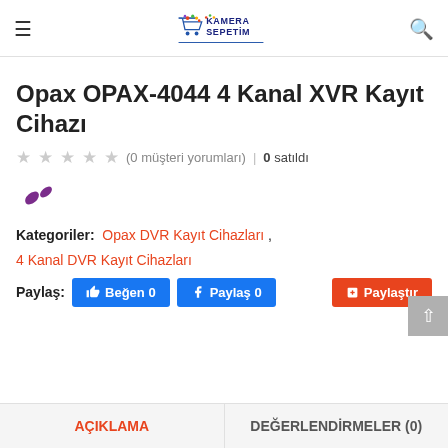Kamera Sepetim
Opax OPAX-4044 4 Kanal XVR Kayıt Cihazı
★★★★★ (0 müşteri yorumları) | 0 satıldı
Kategoriler: Opax DVR Kayıt Cihazları , 4 Kanal DVR Kayıt Cihazları
Paylaş: 👍 Beğen 0  Paylaş 0  Paylaştır
AÇIKLAMA
DEĞERLENDİRMELER (0)